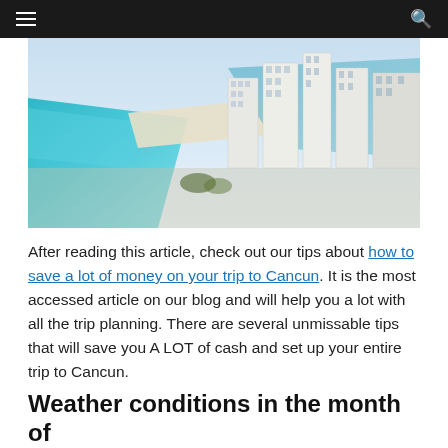[navigation bar with hamburger menu and search icon]
[Figure (photo): Aerial view of Cancun hotel zone showing turquoise Caribbean sea, white sandy beach, and tall resort hotels along the coastline]
After reading this article, check out our tips about how to save a lot of money on your trip to Cancun. It is the most accessed article on our blog and will help you a lot with all the trip planning. There are several unmissable tips that will save you A LOT of cash and set up your entire trip to Cancun.
Weather conditions in the month of December in Cancun